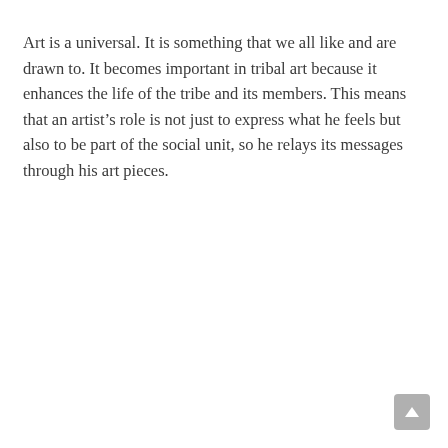Art is a universal. It is something that we all like and are drawn to. It becomes important in tribal art because it enhances the life of the tribe and its members. This means that an artist's role is not just to express what he feels but also to be part of the social unit, so he relays its messages through his art pieces.